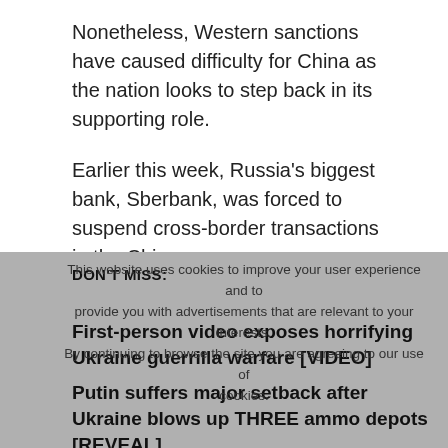Nonetheless, Western sanctions have caused difficulty for China as the nation looks to step back in its supporting role.
Earlier this week, Russia's biggest bank, Sberbank, was forced to suspend cross-border transactions in the Chinese yuan currency.
Though no official reason was given for the suspension, Stanislav Mashagin, from the investment company Infrastructure of Russia, said that Chinese banks were afraid to circumvent Western sanctions on the Russian bank for fear of facing fines from the US.
DON'T MISS:
This website uses cookies to improve your user experience and to provide you with advertisements that are relevant to your interests. By continuing to browse the site you are agreeing to our use of cookies.
First-person video exposes horrifying Ukraine guerrilla warfare [VIDEO]
Putin suffers major setback after Ukraine blows up THREE ammo depots [REVEAL]